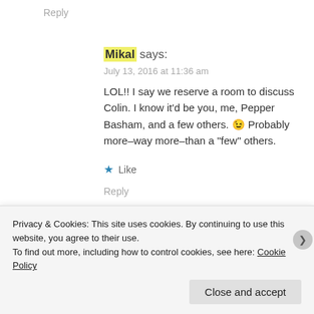Reply
Mikal says:
July 13, 2016 at 11:36 am
LOL!! I say we reserve a room to discuss Colin. I know it’d be you, me, Pepper Basham, and a few others. 😉 Probably more–way more–than a “few” others.
★ Like
Reply
[Figure (photo): Partial view of an advertisement banner with orange/pink gradient background and bold italic text reading 'in the back!']
Privacy & Cookies: This site uses cookies. By continuing to use this website, you agree to their use.
To find out more, including how to control cookies, see here: Cookie Policy
Close and accept